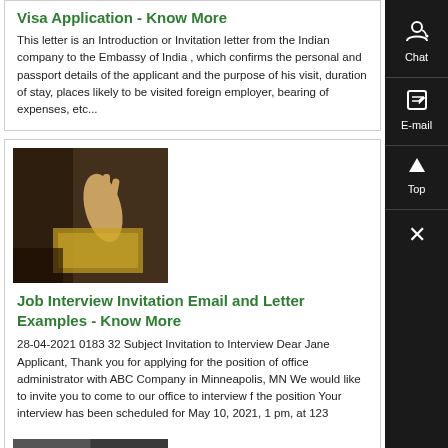Visa Application - Know More
This letter is an Introduction or Invitation letter from the Indian company to the Embassy of India , which confirms the personal and passport details of the applicant and the purpose of his visit, duration of stay, places likely to be visited foreign employer, bearing of expenses, etc...
[Figure (photo): Photo of a hand holding a document or object, brown/dark background]
Job Interview Invitation Email and Letter Examples - Know More
28-04-2021 0183 32 Subject Invitation to Interview Dear Jane Applicant, Thank you for applying for the position of office administrator with ABC Company in Minneapolis, MN We would like to invite you to come to our office to interview f the position Your interview has been scheduled for May 10, 2021, 1 pm, at 123
[Figure (photo): Photo of a room or space with dark/gray tones, bottom of page]